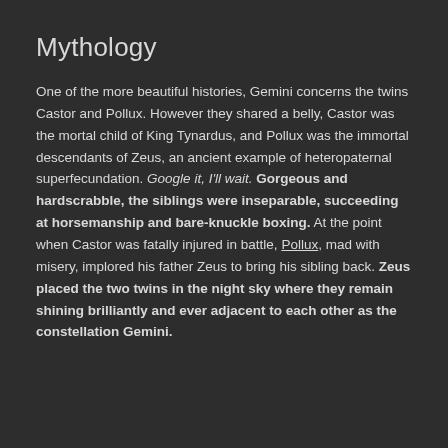Mythology
One of the more beautiful histories, Gemini concerns the twins Castor and Pollux. However they shared a belly, Castor was the mortal child of King Tynardus, and Pollux was the immortal descendants of Zeus, an ancient example of heteropaternal superfecundation. Google it, I'll wait. Gorgeous and hardscrabble, the siblings were inseparable, succeeding at horsemanship and bare-knuckle boxing. At the point when Castor was fatally injured in battle, Pollux, mad with misery, implored his father Zeus to bring his sibling back. Zeus placed the two twins in the night sky where they remain shining brilliantly and ever adjacent to each other as the constellation Gemini.